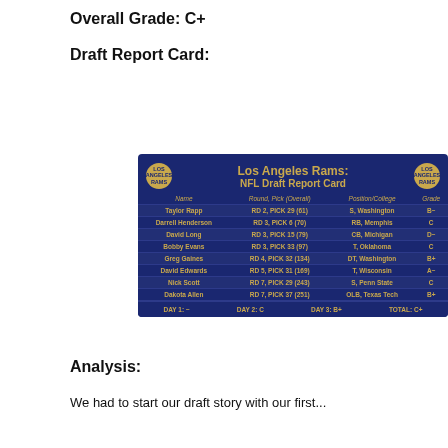Overall Grade: C+
Draft Report Card:
[Figure (table-as-image): Los Angeles Rams NFL Draft Report Card table with player names, round/pick, position/college, and grades. Headers: Name, Round Pick (Overall), Position/College, Grade. Players: Taylor Rapp RD2 PICK29(61) S Washington B-; Darrell Henderson RD3 PICK6(70) RB Memphis C; David Long RD3 PICK15(79) CB Michigan D-; Bobby Evans RD3 PICK33(97) T Oklahoma C; Greg Gaines RD4 PICK32(134) DT Washington B+; David Edwards RD5 PICK31(169) T Wisconsin A-; Nick Scott RD7 PICK29(243) S Penn State C; Dakota Allen RD7 PICK37(251) OLB Texas Tech B+. Footer: DAY1: -, DAY2: C, DAY3: B+, TOTAL: C+]
Analysis:
We had to start our draft story with our first...